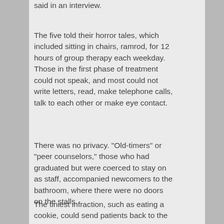said in an interview.
The five told their horror tales, which included sitting in chairs, ramrod, for 12 hours of group therapy each weekday. Those in the first phase of treatment could not speak, and most could not write letters, read, make telephone calls, talk to each other or make eye contact.
There was no privacy. "Old-timers" or "peer counselors," those who had graduated but were coerced to stay on as staff, accompanied newcomers to the bathroom, where there were no doors on the stalls.
The tiniest infraction, such as eating a cookie, could send patients back to the